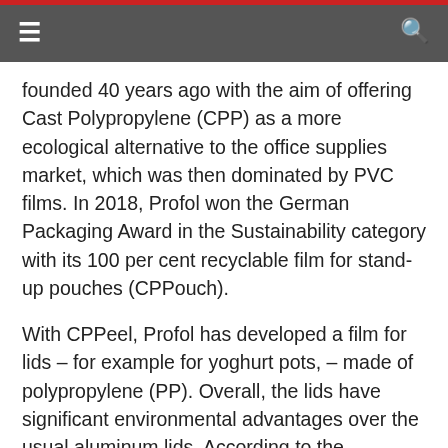Navigation bar with hamburger menu and search icon
founded 40 years ago with the aim of offering Cast Polypropylene (CPP) as a more ecological alternative to the office supplies market, which was then dominated by PVC films. In 2018, Profol won the German Packaging Award in the Sustainability category with its 100 per cent recyclable film for stand-up pouches (CPPouch).
With CPPeel, Profol has developed a film for lids – for example for yoghurt pots, – made of polypropylene (PP). Overall, the lids have significant environmental advantages over the usual aluminum lids. According to the manufacturer, the production of a PP lid requires only about one tenth of the energy required for a conventional aluminum lid. The production of aluminum